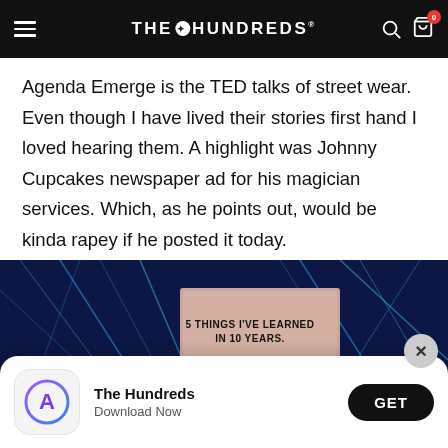THE HUNDREDS
Agenda Emerge is the TED talks of street wear. Even though I have lived their stories first hand I loved hearing them. A highlight was Johnny Cupcakes newspaper ad for his magician services. Which, as he points out, would be kinda rapey if he posted it today.
[Figure (photo): Conference stage with blue neon lights, a projection screen reading '5 THINGS I'VE LEARNED IN 10 YEARS.' and the AGENDA logo on the right]
[Figure (infographic): App download banner overlay: The Hundreds app icon, title 'The Hundreds', subtitle 'Download Now', and a black GET button. Close X button visible.]